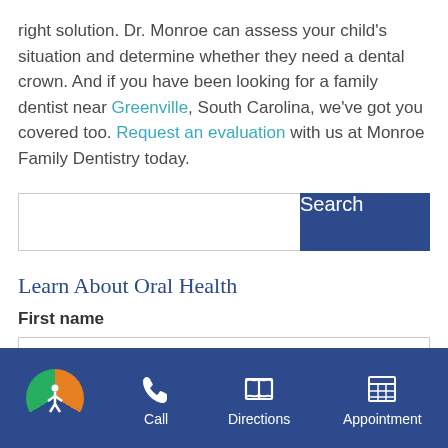right solution. Dr. Monroe can assess your child's situation and determine whether they need a dental crown. And if you have been looking for a family dentist near Greenville, South Carolina, we've got you covered too. Request an evaluation with us at Monroe Family Dentistry today.
[Figure (screenshot): Search input field with a dark blue Search button]
Learn About Oral Health
First name
[Figure (screenshot): Text input box for first name]
Call | Directions | Appointment